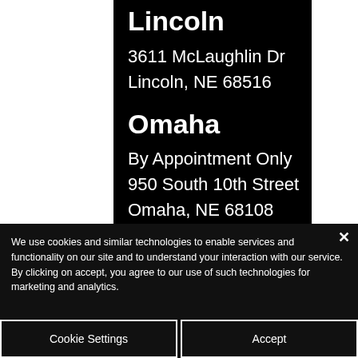Lincoln
3611 McLaughlin Dr
Lincoln, NE 68516
Omaha
By Appointment Only
950 South 10th Street
Omaha, NE 68108
We use cookies and similar technologies to enable services and functionality on our site and to understand your interaction with our service. By clicking on accept, you agree to our use of such technologies for marketing and analytics.
Cookie Settings
Accept